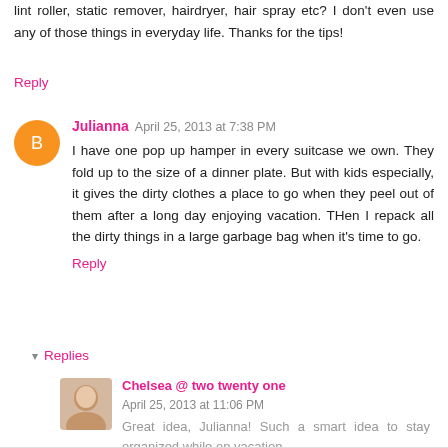lint roller, static remover, hairdryer, hair spray etc? I don't even use any of those things in everyday life. Thanks for the tips!
Reply
Julianna April 25, 2013 at 7:38 PM
I have one pop up hamper in every suitcase we own. They fold up to the size of a dinner plate. But with kids especially, it gives the dirty clothes a place to go when they peel out of them after a long day enjoying vacation. THen I repack all the dirty things in a large garbage bag when it's time to go.
Reply
Replies
Chelsea @ two twenty one April 25, 2013 at 11:06 PM
Great idea, Julianna! Such a smart idea to stay organized while on vacation.